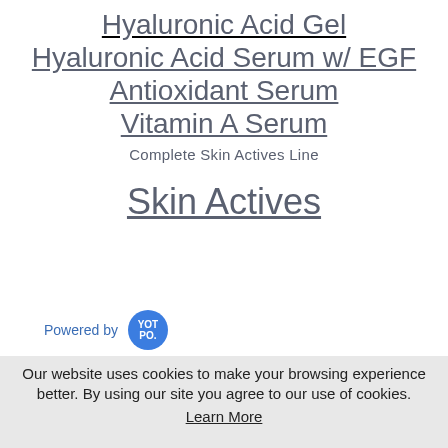Hyaluronic Acid Gel
Hyaluronic Acid Serum w/ EGF
Antioxidant Serum
Vitamin A Serum
Complete Skin Actives Line
Skin Actives
Powered by YOTPO.
Our website uses cookies to make your browsing experience better. By using our site you agree to our use of cookies. Learn More
I Agree